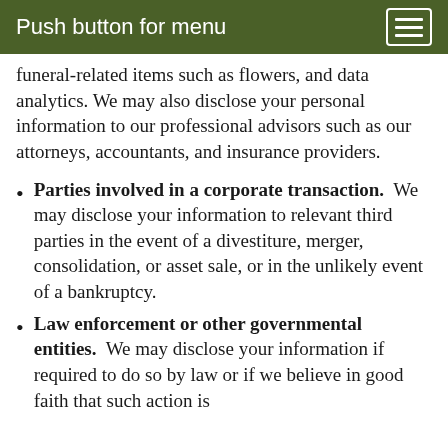Push button for menu
funeral-related items such as flowers, and data analytics. We may also disclose your personal information to our professional advisors such as our attorneys, accountants, and insurance providers.
Parties involved in a corporate transaction.  We may disclose your information to relevant third parties in the event of a divestiture, merger, consolidation, or asset sale, or in the unlikely event of a bankruptcy.
Law enforcement or other governmental entities.  We may disclose your information if required to do so by law or if we believe in good faith that such action is